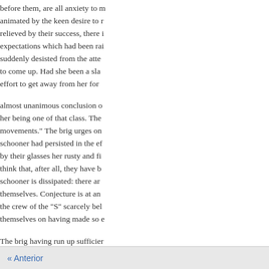before them, are all anxiety to m animated by the keen desire to r relieved by their success, there i expectations which had been rai suddenly desisted from the atte to come up. Had she been a sla effort to get away from her for
almost unanimous conclusion o her being one of that class. The movements." The brig urges on schooner had persisted in the ef by their glasses her rusty and fi think that, after all, they have b schooner is dissipated: there ar themselves. Conjecture is at an the crew of the "S" scarcely bel themselves on having made so e
The brig having run up sufficier officer, is sent to board her; and of humility, the ship's papers an would imagine, on witnessing t
« Anterior